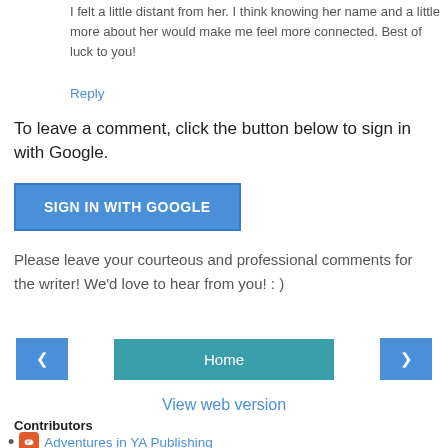I felt a little distant from her. I think knowing her name and a little more about her would make me feel more connected. Best of luck to you!
Reply
To leave a comment, click the button below to sign in with Google.
[Figure (other): SIGN IN WITH GOOGLE button, blue rectangular button with white uppercase text]
Please leave your courteous and professional comments for the writer! We'd love to hear from you! : )
[Figure (other): Navigation row with left arrow button, Home button, and right arrow button]
View web version
Contributors
Adventures in YA Publishing